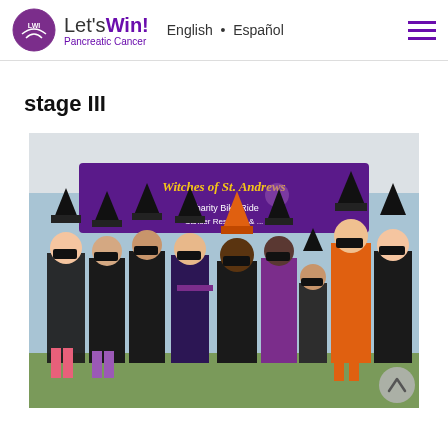Let's Win! Pancreatic Cancer — English · Español
stage III
[Figure (photo): Group photo of women dressed in witch costumes (black hats, black outfits, masks) standing in front of a purple 'Witches of St. Andrews' charity bike ride banner outdoors near water.]